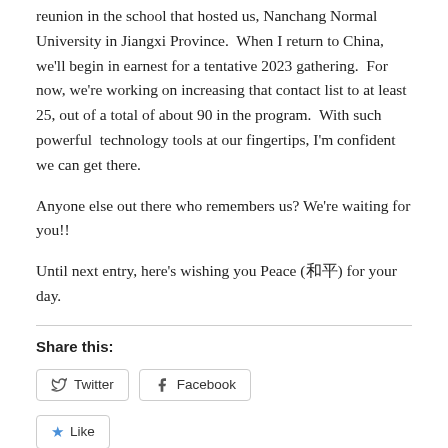reunion in the school that hosted us, Nanchang Normal University in Jiangxi Province.  When I return to China, we'll begin in earnest for a tentative 2023 gathering.  For now, we're working on increasing that contact list to at least 25, out of a total of about 90 in the program.  With such powerful  technology tools at our fingertips, I'm confident we can get there.
Anyone else out there who remembers us? We're waiting for you!!
Until next entry, here's wishing you Peace (和平) for your day.
Share this:
[Figure (other): Twitter and Facebook share buttons, and a Like button]